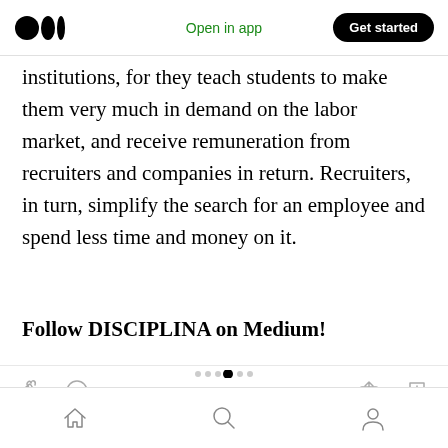Medium logo | Open in app | Get started
institutions, for they teach students to make them very much in demand on the labor market, and receive remuneration from recruiters and companies in return. Recruiters, in turn, simplify the search for an employee and spend less time and money on it.
Follow DISCIPLINA on Medium!
Action icons: clap, comment, share, bookmark-add | Bottom nav: home, search, profile